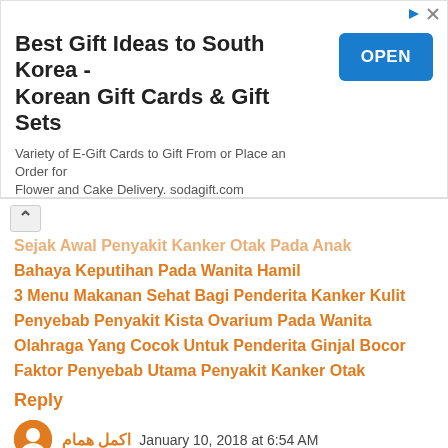[Figure (other): Advertisement banner for Best Gift Ideas to South Korea - Korean Gift Cards & Gift Sets with OPEN button]
Sejak Awal Penyakit Kanker Otak Pada Anak
Bahaya Keputihan Pada Wanita Hamil
3 Menu Makanan Sehat Bagi Penderita Kanker Kulit
Penyebab Penyakit Kista Ovarium Pada Wanita
Olahraga Yang Cocok Untuk Penderita Ginjal Bocor
Faktor Penyebab Utama Penyakit Kanker Otak
Reply
اكمل همام January 10, 2018 at 6:54 AM
Babel accounting and managing contracting companies Software is the first in the Middle East according to its spreading among contracting companies and clients in the Middle east and the world soon,,,,,,